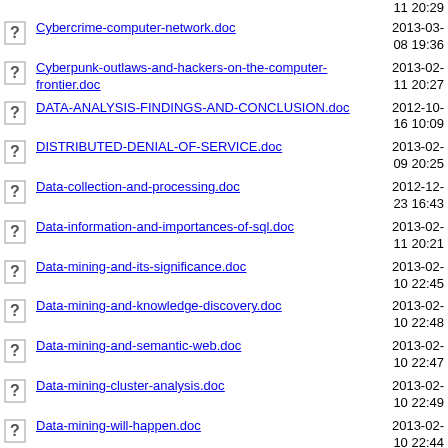Cybercrime-computer-network.doc  2013-03-08 19:36
Cyberpunk-outlaws-and-hackers-on-the-computer-frontier.doc  2013-02-11 20:27
DATA-ANALYSIS-FINDINGS-AND-CONCLUSION.doc  2012-10-16 10:09
DISTRIBUTED-DENIAL-OF-SERVICE.doc  2013-02-09 20:25
Data-collection-and-processing.doc  2012-12-23 16:43
Data-information-and-importances-of-sql.doc  2013-02-11 20:21
Data-mining-and-its-significance.doc  2013-02-10 22:45
Data-mining-and-knowledge-discovery.doc  2013-02-10 22:48
Data-mining-and-semantic-web.doc  2013-02-10 22:47
Data-mining-cluster-analysis.doc  2013-02-10 22:49
Data-mining-will-happen.doc  2013-02-10 22:44